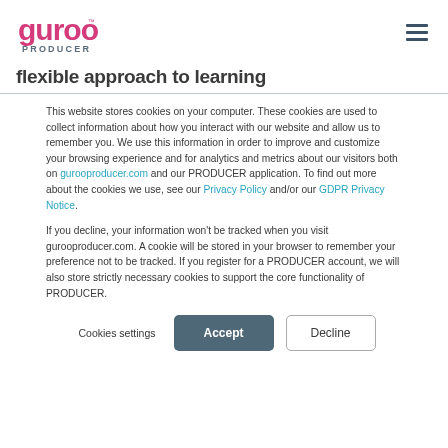[Figure (logo): Guroo Producer logo — stylized pink/magenta 'guroo' wordmark with 'PRODUCER' in grey below]
flexible approach to learning
This website stores cookies on your computer. These cookies are used to collect information about how you interact with our website and allow us to remember you. We use this information in order to improve and customize your browsing experience and for analytics and metrics about our visitors both on gurooproducer.com and our PRODUCER application. To find out more about the cookies we use, see our Privacy Policy and/or our GDPR Privacy Notice.
If you decline, your information won't be tracked when you visit gurooproducer.com. A cookie will be stored in your browser to remember your preference not to be tracked. If you register for a PRODUCER account, we will also store strictly necessary cookies to support the core functionality of PRODUCER.
Cookies settings  Accept  Decline